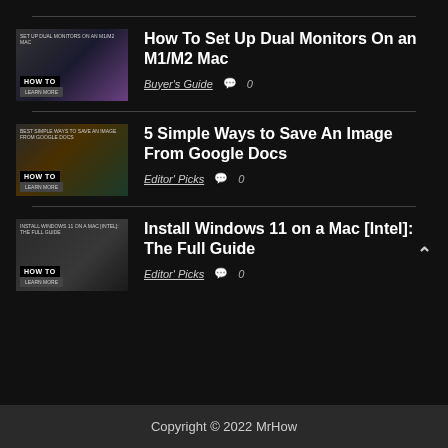How To Set Up Dual Monitors On an M1/M2 Mac — Buyer's Guide — 0 comments
5 Simple Ways to Save An Image From Google Docs — Editor' Picks — 0 comments
Install Windows 11 on a Mac [Intel]: The Full Guide — Editor' Picks — 0 comments
Copyright © 2022 MrHow